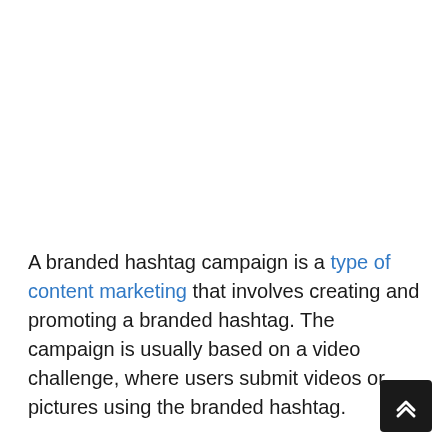A branded hashtag campaign is a type of content marketing that involves creating and promoting a branded hashtag. The campaign is usually based on a video challenge, where users submit videos or pictures using the branded hashtag.